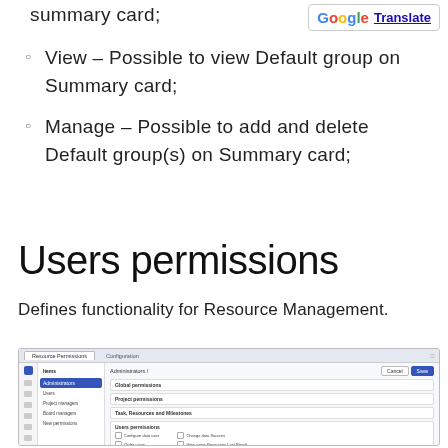summary card;
View – Possible to view Default group on Summary card;
Manage – Possible to add and delete Default group(s) on Summary card;
Users permissions
Defines functionality for Resource Management.
[Figure (screenshot): Screenshot of Users permissions configuration panel in a web application, showing navigation sidebar with items like Administrators, Users, Project managers, Board managers, New permissions, and main content area with sections: Global permissions, Project permissions, Task, Resources and Milestones, Users permissions with checkboxes for Configure data user, Order users, Manage user configuration, Change data Sources, View users Resources Last Result.]